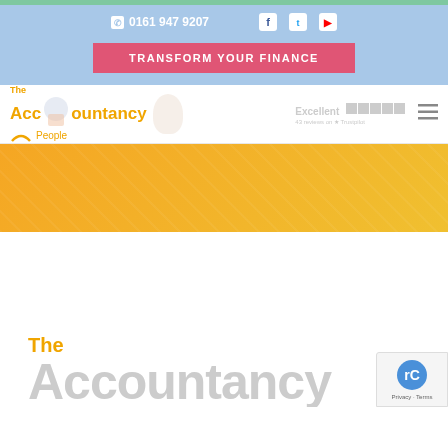[Figure (screenshot): Website screenshot of The Accountancy People showing navigation bar with phone number 0161 947 9207, social media icons, Transform Your Finance CTA button, company logo with Trustpilot rating, golden hero banner, and partial bottom logo.]
0161 947 9207
TRANSFORM YOUR FINANCE
The Accountancy People
Excellent
The
Accountancy